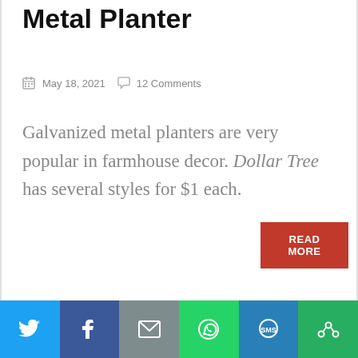Metal Planter
May 18, 2021  12 Comments
Galvanized metal planters are very popular in farmhouse decor. Dollar Tree has several styles for $1 each.
READ MORE